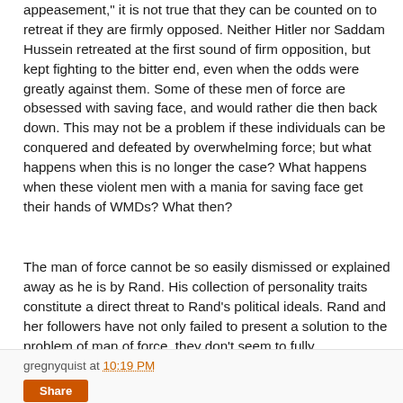appeasement," it is not true that they can be counted on to retreat if they are firmly opposed. Neither Hitler nor Saddam Hussein retreated at the first sound of firm opposition, but kept fighting to the bitter end, even when the odds were greatly against them. Some of these men of force are obsessed with saving face, and would rather die then back down. This may not be a problem if these individuals can be conquered and defeated by overwhelming force; but what happens when this is no longer the case? What happens when these violent men with a mania for saving face get their hands of WMDs? What then?
The man of force cannot be so easily dismissed or explained away as he is by Rand. His collection of personality traits constitute a direct threat to Rand's political ideals. Rand and her followers have not only failed to present a solution to the problem of man of force, they don't seem to fully comprehend the seriousness of the threat.
gregnyquist at 10:19 PM
Share